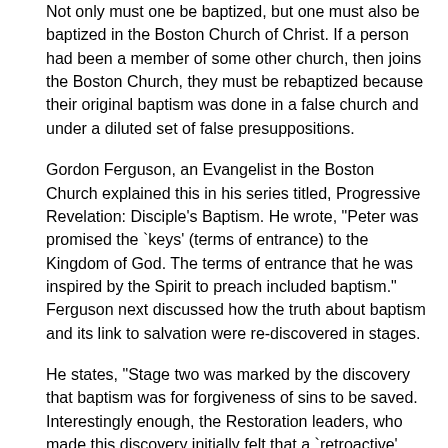Not only must one be baptized, but one must also be baptized in the Boston Church of Christ. If a person had been a member of some other church, then joins the Boston Church, they must be rebaptized because their original baptism was done in a false church and under a diluted set of false presuppositions.
Gordon Ferguson, an Evangelist in the Boston Church explained this in his series titled, Progressive Revelation: Disciple's Baptism. He wrote, "Peter was promised the `keys' (terms of entrance) to the Kingdom of God. The terms of entrance that he was inspired by the Spirit to preach included baptism." Ferguson next discussed how the truth about baptism and its link to salvation were re-discovered in stages.
He states, "Stage two was marked by the discovery that baptism was for forgiveness of sins to be saved. Interestingly enough, the Restoration leaders, who made this discovery initially felt that a `retroactive' understanding was sufficient. In Boston, we do not believe retroactive understanding is sufficient. Stage three focused on the need to be baptized with the conviction that baptism was indeed necessary for salvation. Therefore, anyone who had been baptized